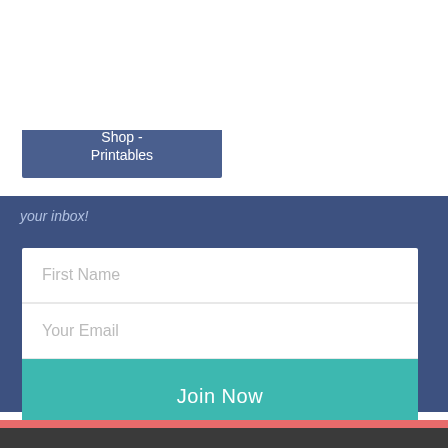[Figure (logo): Learn As You Play logo with two stylized figures and text]
[Figure (other): Hamburger menu icon (three horizontal lines)]
Shop - Learn As You Play Box
Shop - Printables
your inbox!
First Name
Your Email
Join Now